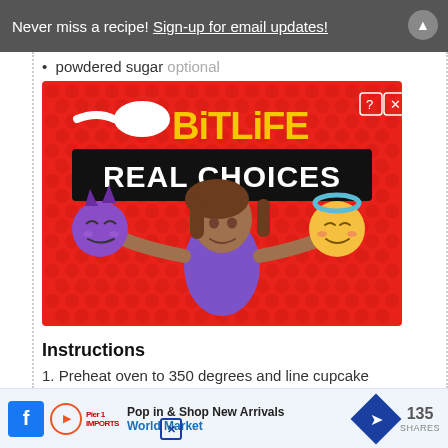Never miss a recipe! Sign-up for email updates!
powdered sugar optional
[Figure (photo): BitLife Real Choices advertisement showing a cartoon woman holding a devil emoji in her left hand and an angel emoji in her right hand, on a red polka-dot background.]
Instructions
1. Preheat oven to 350 degrees and line cupcake
Pop in & Shop New Arrivals World Market | 135 SHARES